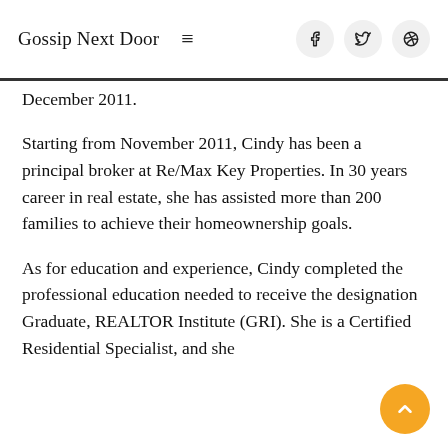Gossip Next Door
December 2011.
Starting from November 2011, Cindy has been a principal broker at Re/Max Key Properties. In 30 years career in real estate, she has assisted more than 200 families to achieve their homeownership goals.
As for education and experience, Cindy completed the professional education needed to receive the designation Graduate, REALTOR Institute (GRI). She is a Certified Residential Specialist, and she